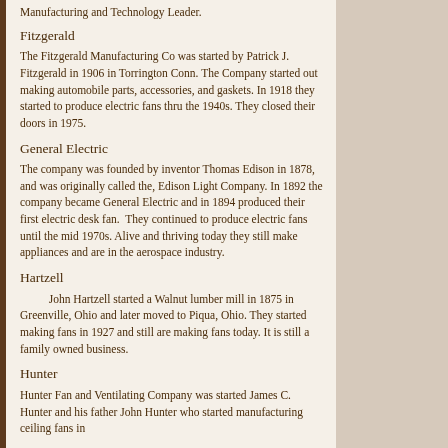Manufacturing and Technology Leader.
Fitzgerald
The Fitzgerald Manufacturing Co was started by Patrick J. Fitzgerald in 1906 in Torrington Conn. The Company started out making automobile parts, accessories, and gaskets. In 1918 they started to produce electric fans thru the 1940s. They closed their doors in 1975.
General Electric
The company was founded by inventor Thomas Edison in 1878, and was originally called the, Edison Light Company. In 1892 the company became General Electric and in 1894 produced their first electric desk fan.  They continued to produce electric fans until the mid 1970s. Alive and thriving today they still make appliances and are in the aerospace industry.
Hartzell
John Hartzell started a Walnut lumber mill in 1875 in Greenville, Ohio and later moved to Piqua, Ohio. They started making fans in 1927 and still are making fans today. It is still a family owned business.
Hunter
Hunter Fan and Ventilating Company was started James C. Hunter and his father John Hunter who started manufacturing ceiling fans in